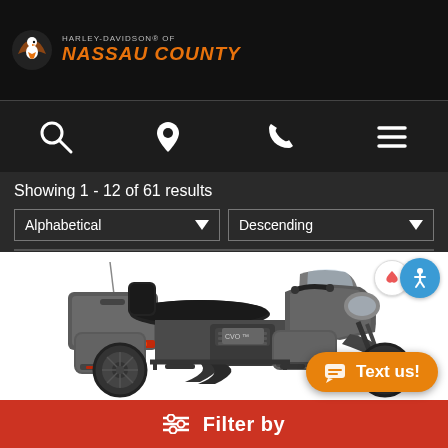Harley-Davidson of Nassau County
[Figure (screenshot): Website navigation bar with search, location, phone, and menu icons]
Showing 1 - 12 of 61 results
Alphabetical | Descending
[Figure (photo): Gray Harley-Davidson touring motorcycle (Ultra Limited) on white background]
Filter by